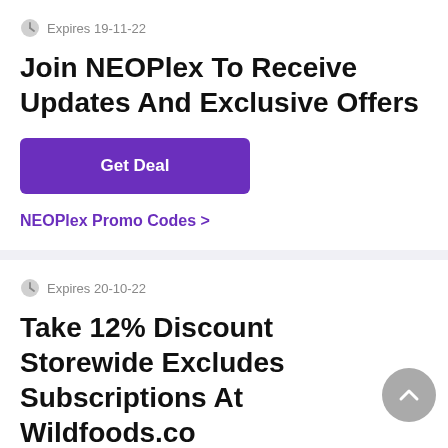Expires 19-11-22
Join NEOPlex To Receive Updates And Exclusive Offers
Get Deal
NEOPlex Promo Codes >
Expires 20-10-22
Take 12% Discount Storewide Excludes Subscriptions At Wildfoods.co
Get Code